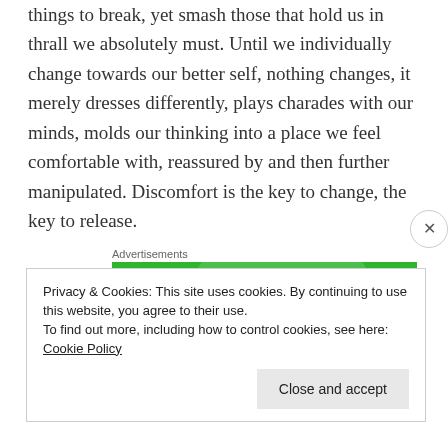things to break, yet smash those that hold us in thrall we absolutely must. Until we individually change towards our better self, nothing changes, it merely dresses differently, plays charades with our minds, molds our thinking into a place we feel comfortable with, reassured by and then further manipulated. Discomfort is the key to change, the key to release.
Advertisements
[Figure (screenshot): Jetpack advertisement banner with green background, white Jetpack logo with lightning bolt icon, and decorative dots pattern]
Privacy & Cookies: This site uses cookies. By continuing to use this website, you agree to their use.
To find out more, including how to control cookies, see here: Cookie Policy
Close and accept